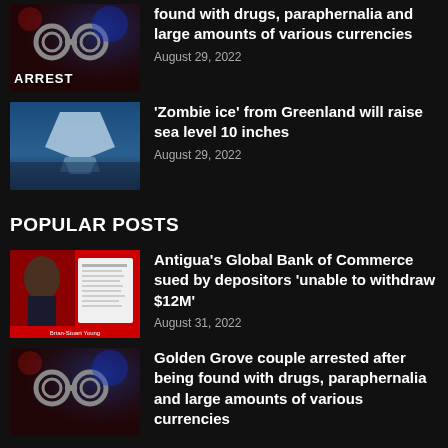[Figure (photo): Arrest news thumbnail with handcuffs on dark red/blue background with ARREST text overlay]
found with drugs, paraphernalia and large amounts of various currencies
August 29, 2022
[Figure (photo): Iceberg/glacier in blue water for zombie ice story]
'Zombie ice' from Greenland will raise sea level 10 inches
August 29, 2022
POPULAR POSTS
[Figure (photo): Man in suit next to legal document on red background - Global Bank of Commerce lawsuit]
Antigua's Global Bank of Commerce sued by depositors 'unable to withdraw $12M'
August 31, 2022
[Figure (photo): Handcuffs on dark red/blue background for arrest story]
Golden Grove couple arrested after being found with drugs, paraphernalia and large amounts of various currencies